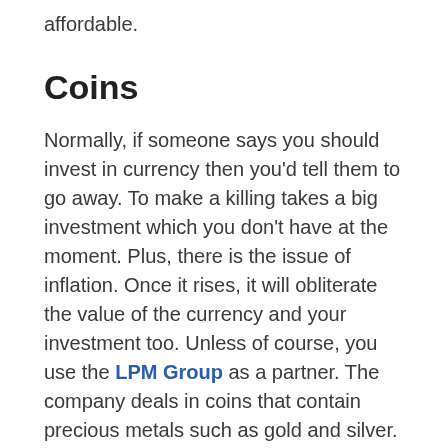affordable.
Coins
Normally, if someone says you should invest in currency then you'd tell them to go away. To make a killing takes a big investment which you don't have at the moment. Plus, there is the issue of inflation. Once it rises, it will obliterate the value of the currency and your investment too. Unless of course, you use the LPM Group as a partner. The company deals in coins that contain precious metals such as gold and silver. To start a collection isn't